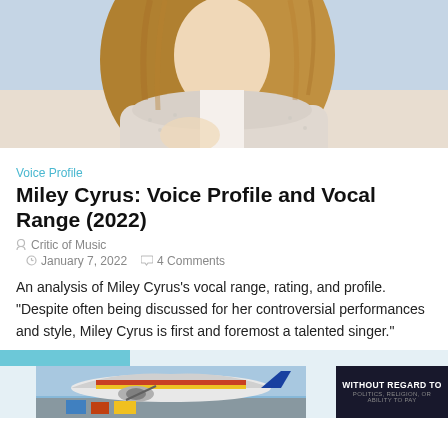[Figure (photo): Photo of a woman with long wavy blonde/brown hair wearing a light-colored textured jacket, upper body visible against a light background]
Voice Profile
Miley Cyrus: Voice Profile and Vocal Range (2022)
Critic of Music
January 7, 2022   4 Comments
An analysis of Miley Cyrus's vocal range, rating, and profile. "Despite often being discussed for her controversial performances and style, Miley Cyrus is first and foremost a talented singer."
[Figure (photo): Advertisement banner showing an airplane being loaded with cargo, with a dark overlay box reading WITHOUT REGARD TO in white text]